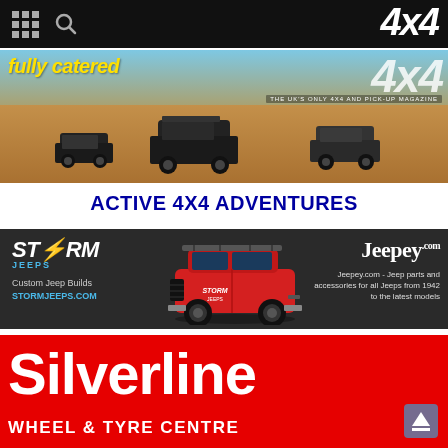4x4 — THE UK'S ONLY 4X4 AND PICK-UP MAGAZINE
[Figure (photo): Advertisement for Active 4x4 Adventures magazine showing three SUVs driving through a sandy desert landscape with blue sky. Bold yellow italic text 'fully catered...' overlaid top-left, large '4x4' logo top-right, white text at bottom: ACTIVE 4X4 ADVENTURES]
[Figure (photo): Advertisement banner for Storm Jeeps and Jeepey.com on dark background. Left side shows STORM JEEPS logo with 'Custom Jeep Builds' and 'STORMJEEPS.COM'. Centre shows a red lifted Jeep Renegade. Right side shows 'Jeepey.com' branding with description 'Jeep parts and accessories for all Jeeps from 1942 to the latest models']
[Figure (photo): Advertisement for Silverline Wheel & Tyre Centre. Red background with large bold white text 'Silverline' and below 'WHEEL & TYRE CENTRE'. Small scroll-up arrow icon bottom-right.]